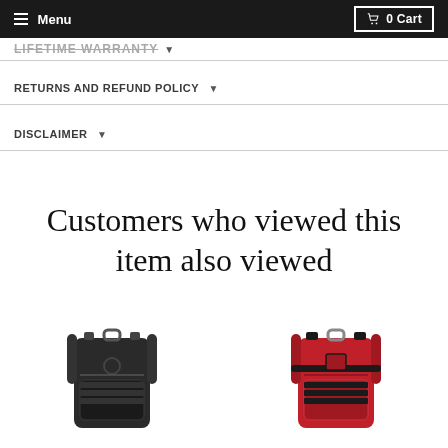Menu | 0 Cart
LIFETIME WARRANTY
RETURNS AND REFUND POLICY
DISCLAIMER
Customers who viewed this item also viewed
[Figure (photo): Black tactical backpack product photo]
[Figure (photo): Red tactical backpack product photo]